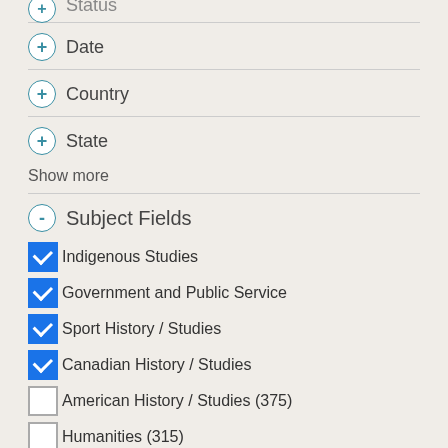Status (partial, top clipped)
+ Date
+ Country
+ State
Show more
- Subject Fields
Indigenous Studies (checked)
Government and Public Service (checked)
Sport History / Studies (checked)
Canadian History / Studies (checked)
American History / Studies (375) (unchecked)
Humanities (315) (unchecked)